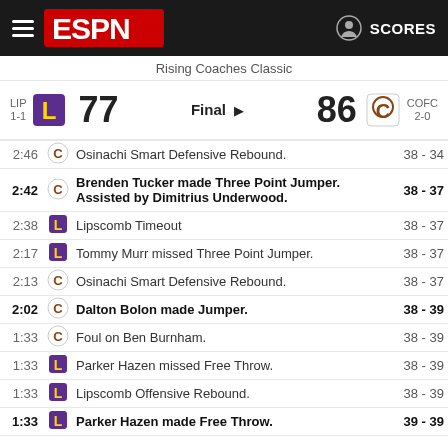ESPN — SCORES
Rising Coaches Classic
LIP 1-1  77  Final  ▶  86  COFC 2-0
| Time | Team | Play | Score |
| --- | --- | --- | --- |
| 2:46 | COFC | Osinachi Smart Defensive Rebound. | 38 - 34 |
| 2:42 | COFC | Brenden Tucker made Three Point Jumper. Assisted by Dimitrius Underwood. | 38 - 37 |
| 2:38 | LIP | Lipscomb Timeout | 38 - 37 |
| 2:17 | LIP | Tommy Murr missed Three Point Jumper. | 38 - 37 |
| 2:13 | COFC | Osinachi Smart Defensive Rebound. | 38 - 37 |
| 2:02 | COFC | Dalton Bolon made Jumper. | 38 - 39 |
| 1:33 | COFC | Foul on Ben Burnham. | 38 - 39 |
| 1:33 | LIP | Parker Hazen missed Free Throw. | 38 - 39 |
| 1:33 | LIP | Lipscomb Offensive Rebound. | 38 - 39 |
| 1:33 | LIP | Parker Hazen made Free Throw. | 39 - 39 |